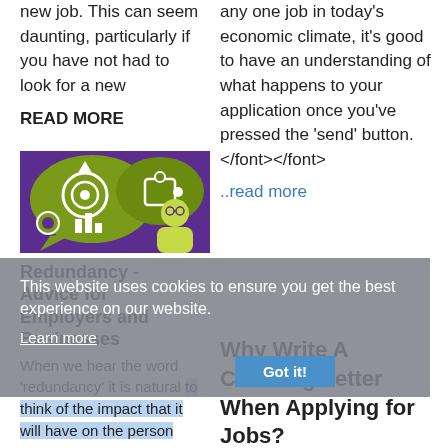new job. This can seem daunting, particularly if you have not had to look for a new
READ MORE
any one job in today's economic climate, it's good to have an understanding of what happens to your application once you've pressed the 'send' button.</font></font>
..read more
[Figure (illustration): Purple background illustration with green speech bubble icons showing a target/goal icon, a puzzle piece icon, a bar chart icon, and a person silhouette in yellow-green]
Redundancy - Advice for Employers and Businesses
When we hear the word 'redundancy' it is natural to think of the impact that it will have on the person
Why Write A Covering Letter When Applying for Jobs?
Your covering letter may well be the first thing potential employers see
This website uses cookies to ensure you get the best experience on our website.
Learn more
Got it!